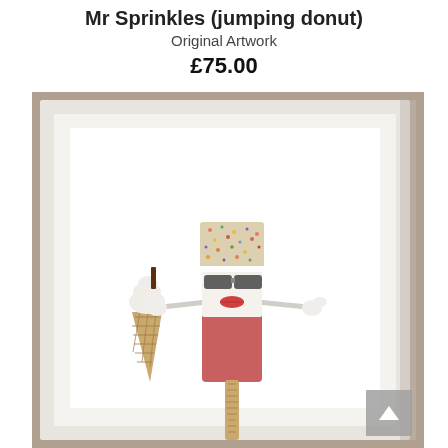Mr Sprinkles (jumping donut)
Original Artwork
£75.00
[Figure (photo): A framed original artwork showing a whimsical 3D mixed-media sculpture of a popsicle character named Mr Sprinkles. The character has a sprinkle-covered top (resembling a donut), dark sunglasses, red lips, a pink/red lower body, white arms extended outward, and holds an ice cream cone in one hand. The piece is mounted in a white frame on a wooden surface.]